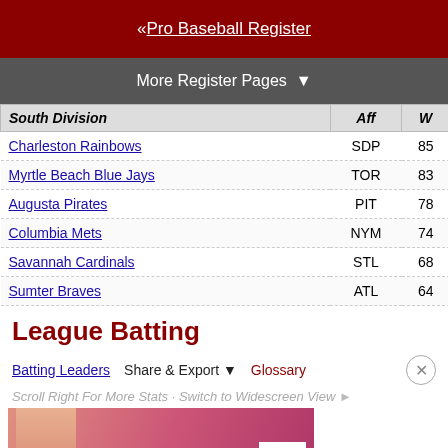« Pro Baseball Register
More Register Pages ▼
| South Division | Aff | W | L | W-L% | GB |
| --- | --- | --- | --- | --- | --- |
| Charleston Rainbows | SDP | 85 | 53 | .616 | -- |
| Myrtle Beach Blue Jays | TOR | 83 | 56 | .597 | 2.5 |
| Augusta Pirates | PIT | 78 | 60 | .565 | 7 |
| Columbia Mets | NYM | 74 | 63 | .540 | 10.5 |
| Savannah Cardinals | STL | 68 | 67 | .504 | 15.5 |
| Sumter Braves | ATL | 64 | 73 | .467 | 20.5 |
League Batting
Batting Leaders  Share & Export ▼  Glossary
Scroll Right For More Stats · Switch to Widescreen View ►
[Figure (photo): Victoria's Secret advertisement banner showing a woman and text SHOP THE COLLECTION with a SHOP NOW button]
| South | ... | ... | ... | ... | ... | ... | ... | N... | 2B |
| --- | --- | --- | --- | --- | --- | --- | --- | --- | --- |
| Myrtle Beach Blue Jays | TOR | 21.2 | 4.65 | 139 | 5174 | 4581 | 674 | 1186 | 206 |